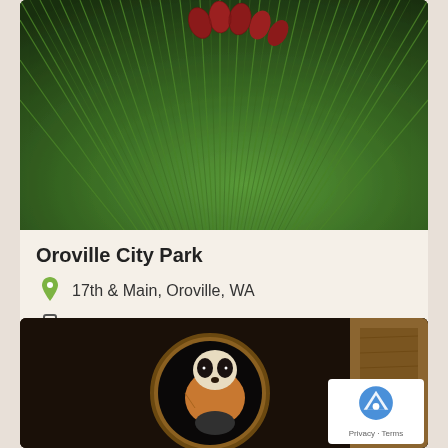[Figure (photo): Close-up photo of pine needles radiating outward with red/pink pine cones at top center]
Oroville City Park
17th & Main, Oroville, WA
(509) 476-2926
[Figure (photo): Photo of a marmot or badger-like animal inside a circular wooden tunnel opening, with reCAPTCHA badge overlay]